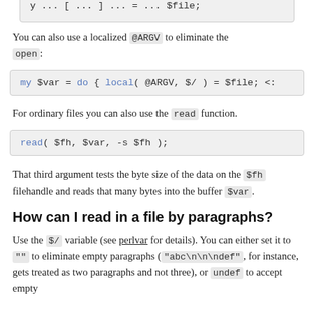[Figure (screenshot): Partial code block at top of page, cut off]
You can also use a localized @ARGV to eliminate the open:
[Figure (screenshot): Code block: my $var = do { local( @ARGV, $/ ) = $file; <...]
For ordinary files you can also use the read function.
[Figure (screenshot): Code block: read( $fh, $var, -s $fh );]
That third argument tests the byte size of the data on the $fh filehandle and reads that many bytes into the buffer $var.
How can I read in a file by paragraphs?
Use the $/ variable (see perlvar for details). You can either set it to "" to eliminate empty paragraphs ("abc\n\n\ndef", for instance, gets treated as two paragraphs and not three), or undef to accept empty